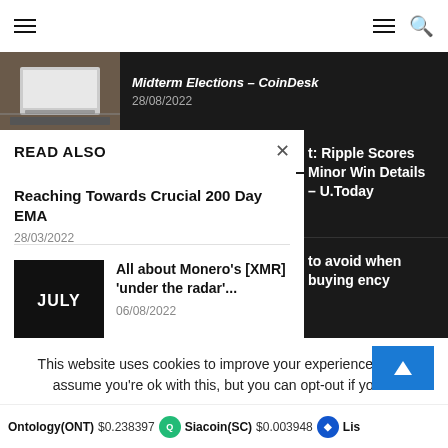Navigation bar with hamburger menu and search icon
[Figure (screenshot): Partially visible article with laptop image and title containing 'Midterm Elections - CoinDesk', dated 28/08/2022]
READ ALSO
Reaching Towards Crucial 200 Day EMA
28/03/2022
All about Monero's [XMR] 'under the radar'...
06/08/2022
t: Ripple Scores Minor Win Details – U.Today
to avoid when buying ency
This website uses cookies to improve your experience. We'll assume you're ok with this, but you can opt-out if you w
Ontology(ONT) $0.238397   Siacoin(SC) $0.003948   Lis